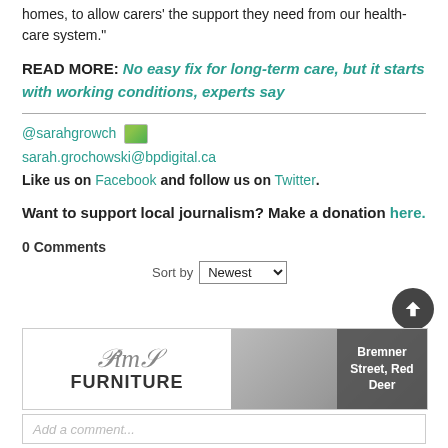homes, to allow carers' the support they need from our health-care system."
READ MORE: No easy fix for long-term care, but it starts with working conditions, experts say
@sarahgrowch [twitter icon]
sarah.grochowski@bpdigital.ca
Like us on Facebook and follow us on Twitter.
Want to support local journalism? Make a donation here.
0 Comments
Sort by Newest
[Figure (other): Pims Furniture advertisement banner with logo on left and people on couch image on right, text reading Bremner Street, Red Deer]
Add a comment...